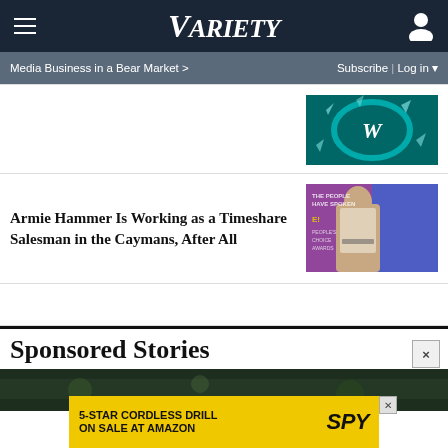Variety
Media Business in a Bear Market >   Subscribe | Log in
[Figure (photo): Warner Bros logo on teal background with shattered glass effect]
Armie Hammer Is Working as a Timeshare Salesman in the Caymans, After All
[Figure (photo): Armie Hammer at E! People's Choice Awards red carpet event with purple and blue background]
Sponsored Stories
[Figure (photo): Dark green foliage background image for sponsored stories section]
[Figure (other): Advertisement banner: 5-STAR CORDLESS DRILL ON SALE AT AMAZON - SPY]